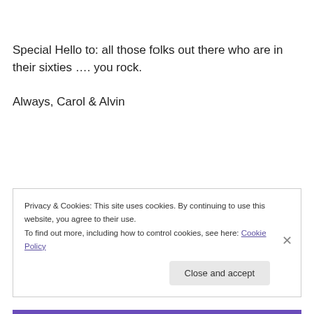Special Hello to: all those folks out there who are in their sixties …. you rock.

Always, Carol & Alvin
Privacy & Cookies: This site uses cookies. By continuing to use this website, you agree to their use.
To find out more, including how to control cookies, see here: Cookie Policy
Close and accept